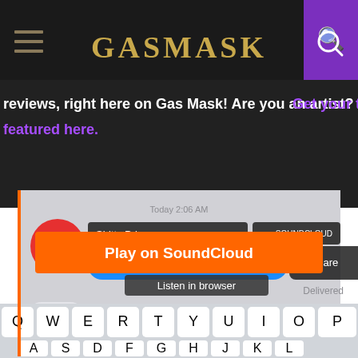[Figure (screenshot): Screenshot of a website called GASMASK with dark background header showing hamburger menu icon on left, GASMASK logo in gold text in center, and purple search button on right. Below header is text about music reviews and artist features. Below that is a screenshot of an iOS Messages conversation showing a SoundCloud track share for 'Shitty Princess - I Know You Want To...' with blue message bubble, Delivered status, typing indicator, and message compose bar. Overlaid on the screenshot is a SoundCloud embedded player with orange 'Play on SoundCloud' button and 'Listen in browser' label. Below the player is an iOS keyboard showing QWERTY layout.]